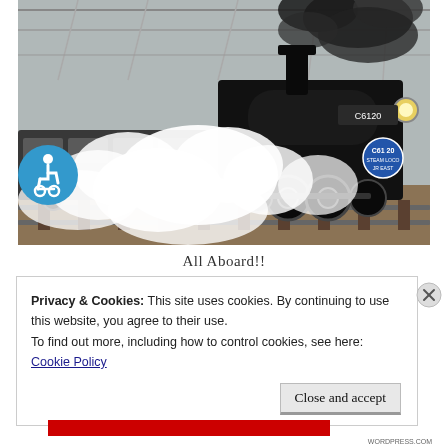[Figure (photo): A black steam locomotive (C6120) at a station, billowing large clouds of white steam, pulling passenger cars. An overhead infrastructure is visible. A blue wheelchair accessibility sign is overlaid on the lower left of the image.]
All Aboard!!
Privacy & Cookies: This site uses cookies. By continuing to use this website, you agree to their use.
To find out more, including how to control cookies, see here:
Cookie Policy
Close and accept